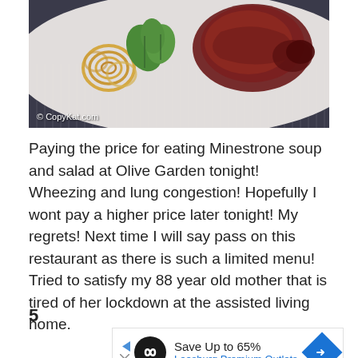[Figure (photo): Food photo showing pasta (fettuccine/linguine), green salad leaves, and a meat dish on a white plate, placed on a dark striped background. Watermark reads © CopyKat.com]
Paying the price for eating Minestrone soup and salad at Olive Garden tonight! Wheezing and lung congestion! Hopefully I wont pay a higher price later tonight! My regrets! Next time I will say pass on this restaurant as there is such a limited menu! Tried to satisfy my 88 year old mother that is tired of her lockdown at the assisted living home.
5
[Figure (other): Advertisement banner: Save Up to 65% Leesburg Premium Outlets]